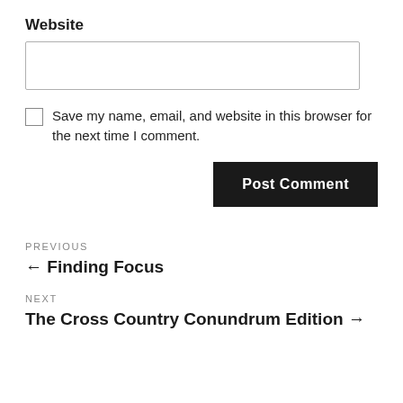Website
Save my name, email, and website in this browser for the next time I comment.
Post Comment
PREVIOUS
← Finding Focus
NEXT
The Cross Country Conundrum Edition →